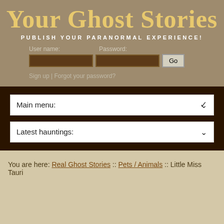Your Ghost Stories
PUBLISH YOUR PARANORMAL EXPERIENCE!
User name:    Password:
Sign up | Forgot your password?
Main menu:
Latest hauntings:
You are here: Real Ghost Stories :: Pets / Animals :: Little Miss Tauri